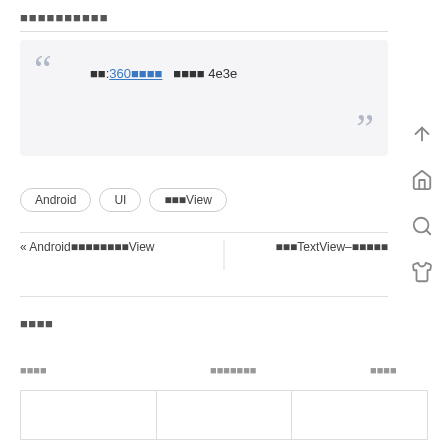■■■■■■■■■■
■■:360■■■■  ■■■■ 4e3e
Android
UI
■■■View
« Android■■■■■■■■View
■■■TextView–■■■■■
■■■■
| ■■■■ | ■■■■■■■ | ■■■■ |
| --- | --- | --- |
|  |  |  |